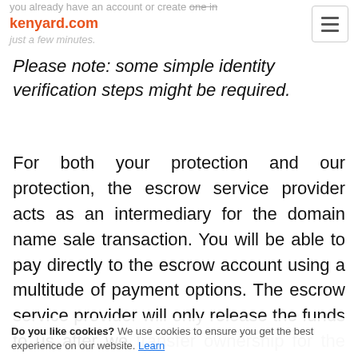you already have an account or create one in kenyard.com just a few minutes.
Please note: some simple identity verification steps might be required.
For both your protection and our protection, the escrow service provider acts as an intermediary for the domain name sale transaction. You will be able to pay directly to the escrow account using a multitude of payment options. The escrow service provider will only release the funds to us after we transfer ownership for the domain name.
Do you like cookies? We use cookies to ensure you get the best experience on our website. Learn